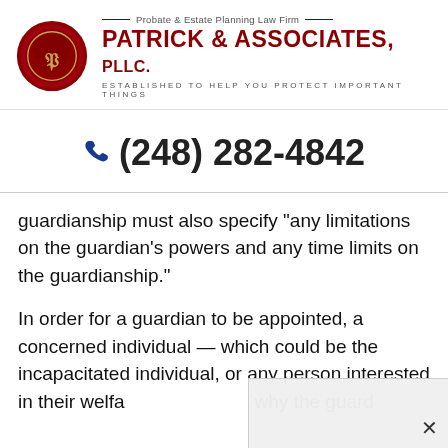[Figure (logo): Patrick & Associates PLLC law firm header with red wax seal logo, firm name in dark red, tagline 'Probate & Estate Planning Law Firm', and subtitle 'ESTABLISHED TO HELP YOU PROTECT IMPORTANT THINGS']
(248) 282-4842
guardianship must also specify “any limitations on the guardian’s powers and any time limits on the guardianship.”
In order for a guardian to be appointed, a concerned individual — which could be the incapacitated individual, or any person interested in their welfa... why the guard...